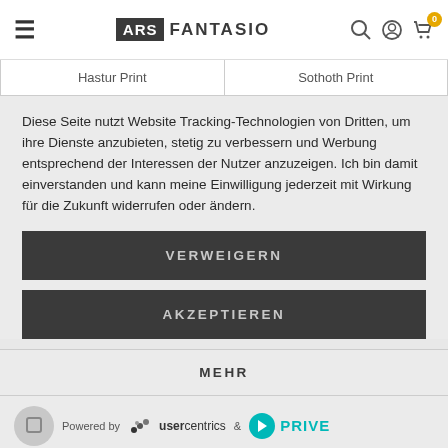ARS FANTASIO
Hastur Print | Sothoth Print
Diese Seite nutzt Website Tracking-Technologien von Dritten, um ihre Dienste anzubieten, stetig zu verbessern und Werbung entsprechend der Interessen der Nutzer anzuzeigen. Ich bin damit einverstanden und kann meine Einwilligung jederzeit mit Wirkung für die Zukunft widerrufen oder ändern.
VERWEIGERN
AKZEPTIEREN
MEHR
Powered by usercentrics & PRIVE